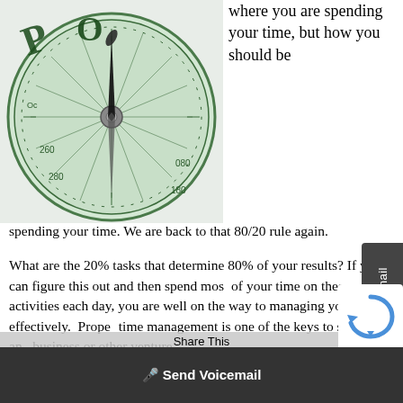[Figure (photo): Close-up photograph of a green compass showing dial markings and needle, with the letter O and P visible on the compass face]
where you are spending your time, but how you should be spending your time. We are back to that 80/20 rule again.
What are the 20% tasks that determine 80% of your results? If you can figure this out and then spend most of your time on these activities each day, you are well on the way to managing your time effectively. Proper time management is one of the keys to success in any business or other venture.
Plan Your Day the Night Before
I like to plan my day the night before. This helps get off on the right foot the next people use their computer or smartphone to keep